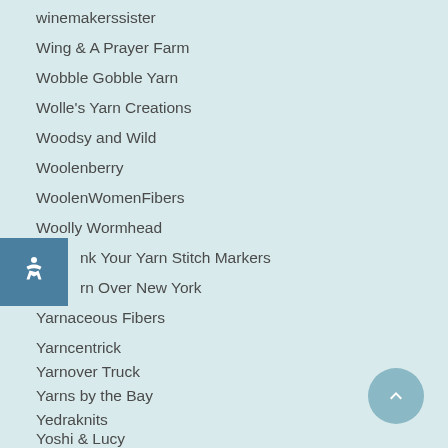winemakerssister
Wing & A Prayer Farm
Wobble Gobble Yarn
Wolle's Yarn Creations
Woodsy and Wild
Woolenberry
WoolenWomenFibers
Woolly Wormhead
Yink Your Yarn Stitch Markers
Yarn Over New York
Yarnaceous Fibers
Yarncentrick
Yarnover Truck
Yarns by the Bay
Yedraknits
Yoshi & Lucy
Youghiogheny Yarns
Zen Yarn Garden